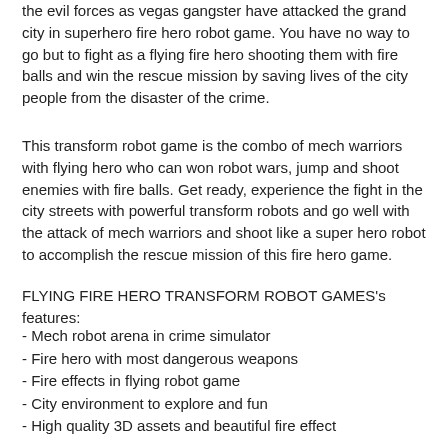the evil forces as vegas gangster have attacked the grand city in superhero fire hero robot game. You have no way to go but to fight as a flying fire hero shooting them with fire balls and win the rescue mission by saving lives of the city people from the disaster of the crime.
This transform robot game is the combo of mech warriors with flying hero who can won robot wars, jump and shoot enemies with fire balls. Get ready, experience the fight in the city streets with powerful transform robots and go well with the attack of mech warriors and shoot like a super hero robot to accomplish the rescue mission of this fire hero game.
FLYING FIRE HERO TRANSFORM ROBOT GAMES's features:
- Mech robot arena in crime simulator
- Fire hero with most dangerous weapons
- Fire effects in flying robot game
- City environment to explore and fun
- High quality 3D assets and beautiful fire effect